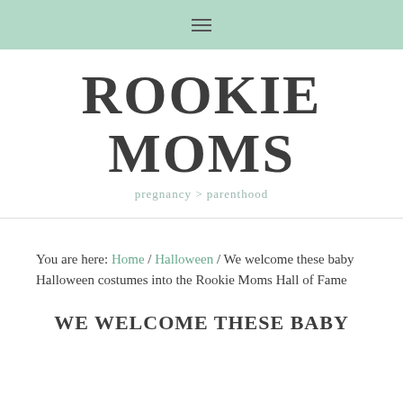≡
ROOKIE MOMS
pregnancy > parenthood
You are here: Home / Halloween / We welcome these baby Halloween costumes into the Rookie Moms Hall of Fame
WE WELCOME THESE BABY